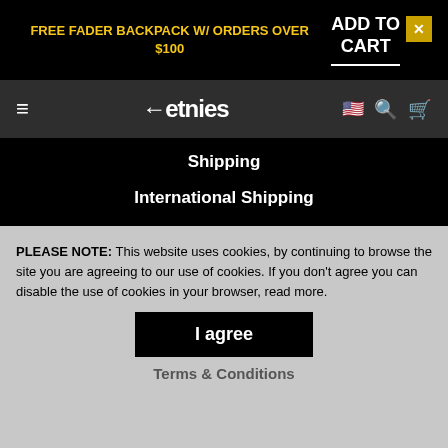FREE FADER BACKPACK W/ ORDERS OVER $100 | ADD TO CART ✕
≡ ←etnies 🇺🇸 🔍 🛒
Shipping
International Shipping
Returns
Size Guide
MISCELLANEOUS
Dealer Locator
Distributers
Careers
Privacy Policy
PLEASE NOTE: This website uses cookies, by continuing to browse the site you are agreeing to our use of cookies. If you don't agree you can disable the use of cookies in your browser, read more.
I agree
Terms & Conditions